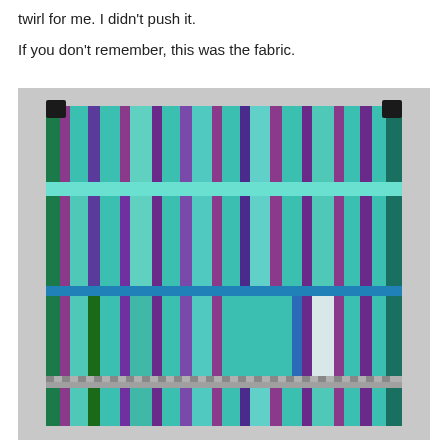twirl for me.  I didn't push it.
If you don't remember, this was the fabric.
[Figure (photo): A colorful patchwork quilt hung on a wall, featuring strips and blocks of teal, turquoise, purple, and green batik fabrics arranged in a horizontal stripe pattern. The quilt is pinned or clipped at the top corners to hang flat.]